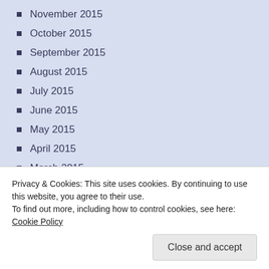November 2015
October 2015
September 2015
August 2015
July 2015
June 2015
May 2015
April 2015
March 2015
February 2015
January 2015
Privacy & Cookies: This site uses cookies. By continuing to use this website, you agree to their use.
To find out more, including how to control cookies, see here: Cookie Policy
Close and accept